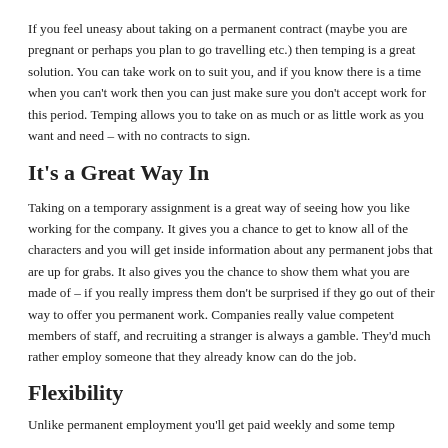If you feel uneasy about taking on a permanent contract (maybe you are pregnant or perhaps you plan to go travelling etc.) then temping is a great solution. You can take work on to suit you, and if you know there is a time when you can't work then you can just make sure you don't accept work for this period. Temping allows you to take on as much or as little work as you want and need – with no contracts to sign.
It's a Great Way In
Taking on a temporary assignment is a great way of seeing how you like working for the company. It gives you a chance to get to know all of the characters and you will get inside information about any permanent jobs that are up for grabs. It also gives you the chance to show them what you are made of – if you really impress them don't be surprised if they go out of their way to offer you permanent work. Companies really value competent members of staff, and recruiting a stranger is always a gamble. They'd much rather employ someone that they already know can do the job.
Flexibility
Unlike permanent employment you'll get paid weekly and some temp